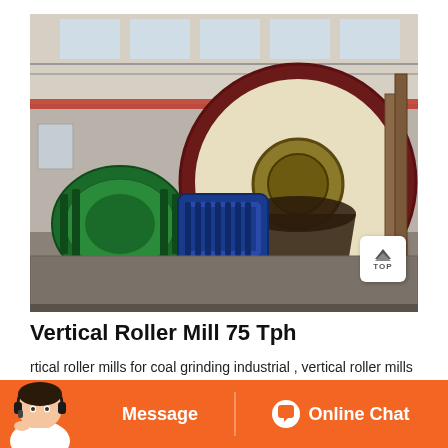[Figure (photo): Industrial grinding mill equipment inside a large factory building. Shows a large red circular mill wheel/drum, green and blue motor units, pipes, and warehouse-style ceiling with skylights.]
Vertical Roller Mill 75 Tph
rtical roller mills for coal grinding industrial , vertical roller mills coal grinding according to miit, grinding media wear in a vrm will